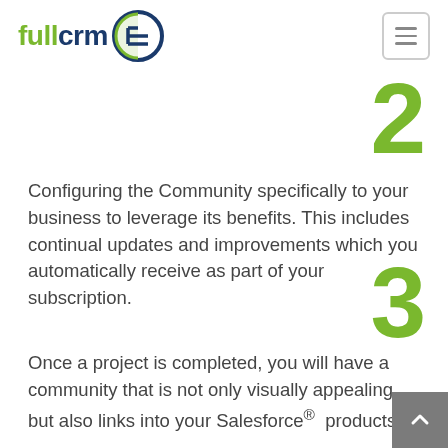fullcrm [logo]
2
Configuring the Community specifically to your business to leverage its benefits. This includes continual updates and improvements which you automatically receive as part of your subscription.
3
Once a project is completed, you will have a community that is not only visually appealing, but also links into your Salesforce® products.